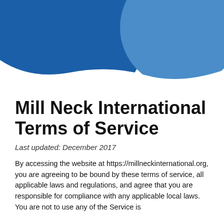[Figure (illustration): Abstract blue circular shapes decorating the top of the page — a large dark blue filled arc on the left and a medium steel-blue filled circle on the right, both overlapping the white background with a wavy white cutout at the bottom edge.]
Mill Neck International Terms of Service
Last updated: December 2017
By accessing the website at https://millneckinternational.org, you are agreeing to be bound by these terms of service, all applicable laws and regulations, and agree that you are responsible for compliance with any applicable local laws. You are not to use any of the Service is